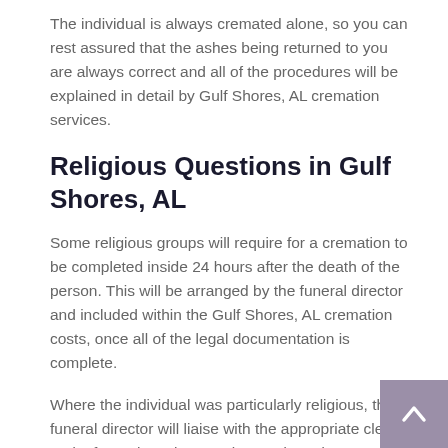The individual is always cremated alone, so you can rest assured that the ashes being returned to you are always correct and all of the procedures will be explained in detail by Gulf Shores, AL cremation services.
Religious Questions in Gulf Shores, AL
Some religious groups will require for a cremation to be completed inside 24 hours after the death of the person. This will be arranged by the funeral director and included within the Gulf Shores, AL cremation costs, once all of the legal documentation is complete.
Where the individual was particularly religious, the funeral director will liaise with the appropriate clergy and a funeral service may be conducted